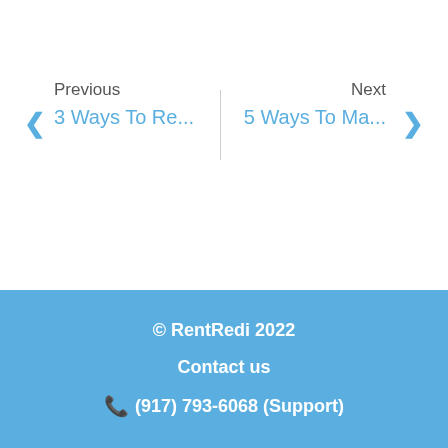Previous
3 Ways To Re...
Next
5 Ways To Ma...
© RentRedi 2022
Contact us
📞 (917) 793-6068 (Support)